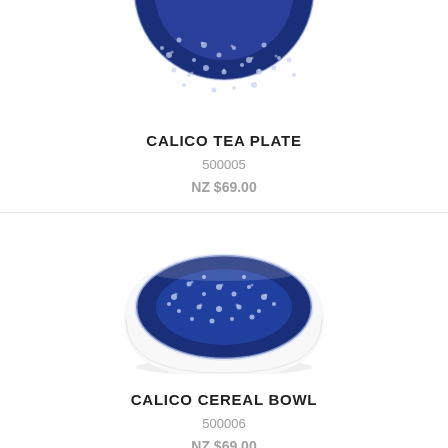[Figure (photo): Partial view of a blue and white Calico Tea Plate with floral pattern, cropped at top]
CALICO TEA PLATE
500005
NZ $69.00
[Figure (photo): Blue and white Calico Cereal Bowl with floral pattern, oval shaped, viewed from slightly above]
CALICO CEREAL BOWL
500006
NZ $69.00